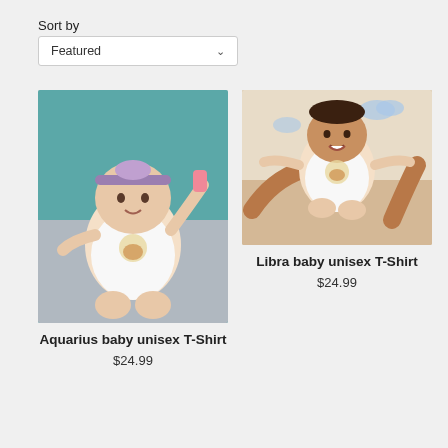Sort by
Featured
[Figure (photo): Baby girl wearing a white onesie with a zodiac graphic and a purple headband bow, sitting on a grey couch holding a pink bottle against a teal background wall]
Aquarius baby unisex T-Shirt
$24.99
[Figure (photo): Baby wearing a white onesie with a zodiac graphic being held up by adult hands with cloud decorations in the background]
Libra baby unisex T-Shirt
$24.99